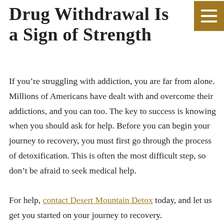Drug Withdrawal Is a Sign of Strength
If you’re struggling with addiction, you are far from alone. Millions of Americans have dealt with and overcome their addictions, and you can too. The key to success is knowing when you should ask for help. Before you can begin your journey to recovery, you must first go through the process of detoxification. This is often the most difficult step, so don’t be afraid to seek medical help.

For help, contact Desert Mountain Detox today, and let us get you started on your journey to recovery.